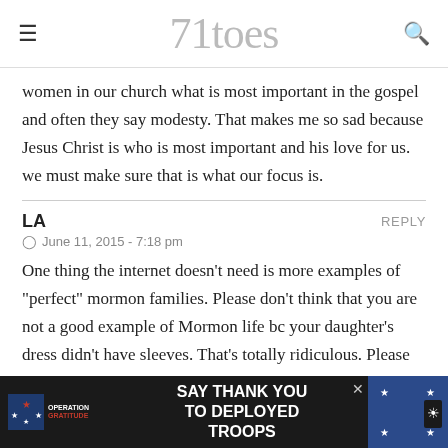71toes
women in our church what is most important in the gospel and often they say modesty. That makes me so sad because Jesus Christ is who is most important and his love for us. we must make sure that is what our focus is.
LA
June 11, 2015 - 7:18 pm
One thing the internet doesn't need is more examples of "perfect" mormon families. Please don't think that you are not a good example of Mormon life bc your daughter's dress didn't have sleeves. That's totally ridiculous. Please stay real. Real
[Figure (screenshot): Operation Gratitude advertisement banner: SAY THANK YOU TO DEPLOYED TROOPS, with patriotic stars and eagle mascot imagery on dark background]